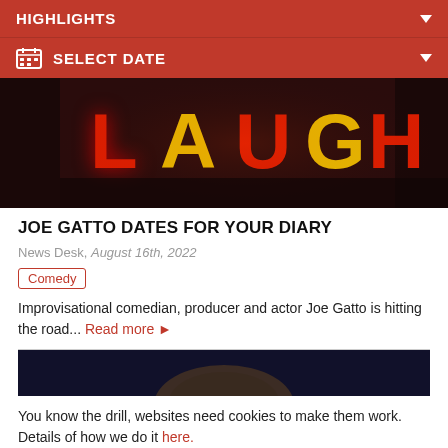HIGHLIGHTS
SELECT DATE
[Figure (photo): Neon sign showing the word LAUGH in red and yellow neon lights against a dark background]
JOE GATTO DATES FOR YOUR DIARY
News Desk, August 16th, 2022
Comedy
Improvisational comedian, producer and actor Joe Gatto is hitting the road... Read more ▶
[Figure (photo): Partial view of a person with hair visible against a dark navy background]
You know the drill, websites need cookies to make them work. Details of how we do it here.
Got it!